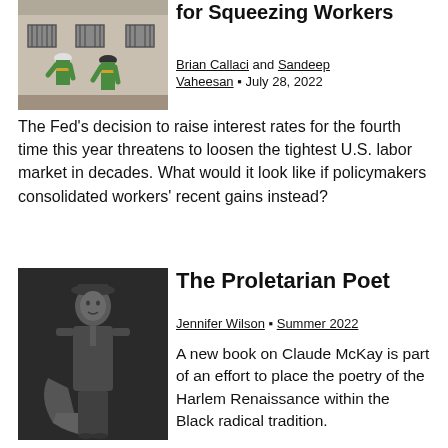[Figure (photo): Two construction workers in high-visibility vests seen from behind, looking at a building with barred windows]
for Squeezing Workers
Brian Callaci and Sandeep Vaheesan • July 28, 2022
The Fed's decision to raise interest rates for the fourth time this year threatens to loosen the tightest U.S. labor market in decades. What would it look like if policymakers consolidated workers' recent gains instead?
[Figure (photo): Black and white portrait photograph of a young person in early 20th century clothing]
The Proletarian Poet
Jennifer Wilson • Summer 2022
A new book on Claude McKay is part of an effort to place the poetry of the Harlem Renaissance within the Black radical tradition.